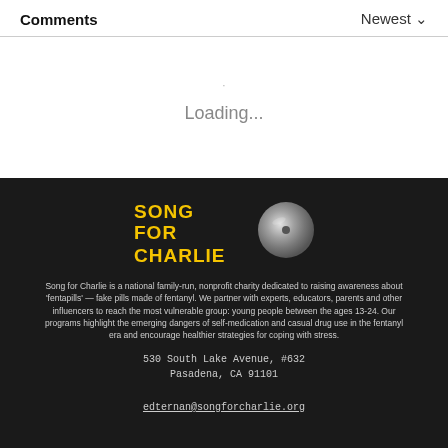Comments | Newest
Loading...
[Figure (logo): Song for Charlie logo — bold yellow text reading SONG FOR CHARLIE with a metallic vinyl/disc graphic to the right]
Song for Charlie is a national family-run, nonprofit charity dedicated to raising awareness about 'fentapills' — fake pills made of fentanyl. We partner with experts, educators, parents and other influencers to reach the most vulnerable group: young people between the ages 13-24. Our programs highlight the emerging dangers of self-medication and casual drug use in the fentanyl era and encourage healthier strategies for coping with stress.
530 South Lake Avenue, #632
Pasadena, CA 91101
edternan@songforcharlie.org